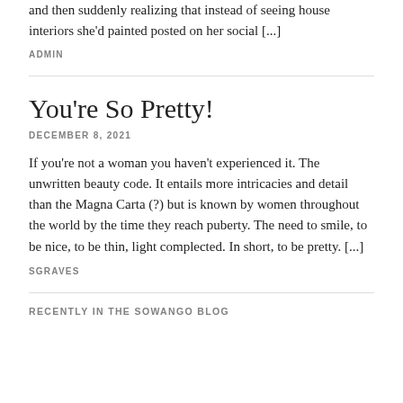and then suddenly realizing that instead of seeing house interiors she'd painted posted on her social [...]
ADMIN
You're So Pretty!
DECEMBER 8, 2021
If you're not a woman you haven't experienced it. The unwritten beauty code. It entails more intricacies and detail than the Magna Carta (?) but is known by women throughout the world by the time they reach puberty. The need to smile, to be nice, to be thin, light complected. In short, to be pretty. [...]
SGRAVES
RECENTLY IN THE SOWANGO BLOG